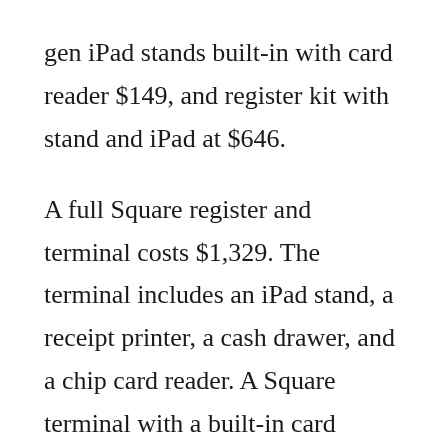gen iPad stands built-in with card reader $149, and register kit with stand and iPad at $646.
A full Square register and terminal costs $1,329. The terminal includes an iPad stand, a receipt printer, a cash drawer, and a chip card reader. A Square terminal with a built-in card reader costs $799. The company also generates revenue from add-on services like employee management